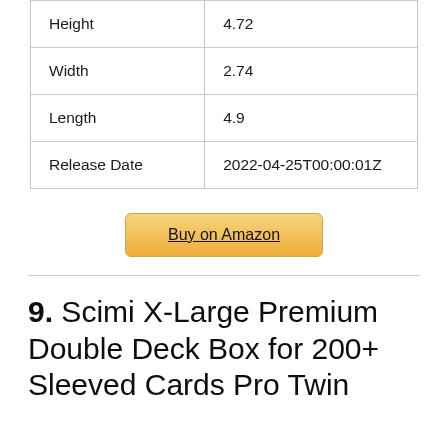| Height | 4.72 |
| Width | 2.74 |
| Length | 4.9 |
| Release Date | 2022-04-25T00:00:01Z |
Buy on Amazon
9. Scimi X-Large Premium Double Deck Box for 200+ Sleeved Cards Pro Twin